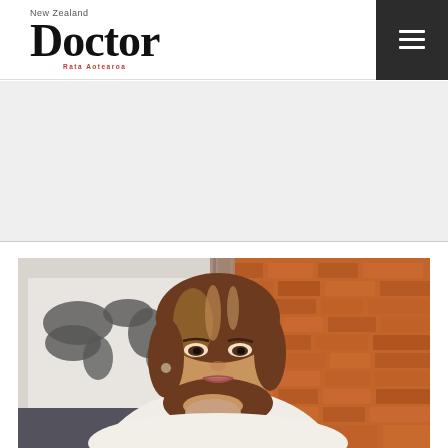New Zealand Doctor
[Figure (other): Advertisement banner area, light grey background]
[Figure (photo): Professional portrait photo of a middle-aged woman with highlighted brown hair, resting her chin on her hand, wearing a white top. Background shows a brick wall and a world map poster. Setting appears to be a professional office.]